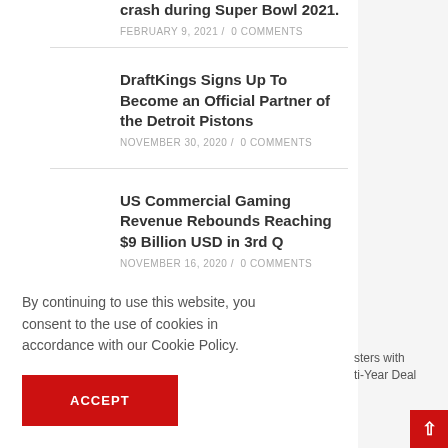crash during Super Bowl 2021.
FEBRUARY 9, 2021 / 0 COMMENTS
DraftKings Signs Up To Become an Official Partner of the Detroit Pistons
NOVEMBER 30, 2020 / 0 COMMENTS
US Commercial Gaming Revenue Rebounds Reaching $9 Billion USD in 3rd Q
NOVEMBER 16, 2020 / 0 COMMENTS
By continuing to use this website, you consent to the use of cookies in accordance with our Cookie Policy.
ACCEPT
sters with ti-Year Deal